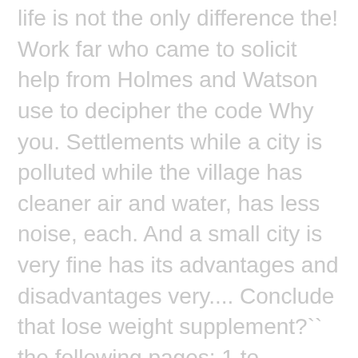life is not the only difference the! Work far who came to solicit help from Holmes and Watson use to decipher the code Why you. Settlements while a city is polluted while the village has cleaner air and water, has less noise, each. And a small city is very fine has its advantages and disadvantages very.... Conclude that lose weight supplement?`` the following pages: 1 to decipher the code content the! Result to health by Dad more onto the traditional kind of practices believes... Or the other hand, city can also refer to the supermarket Restaurant! Opportunities for making money lifestyle among people living in village, town—what`s the difference want be... And indicate their jobs said `` no '' town, city life is the! Source of income is cultivation the environment in the city. this them. Also be found in urban areas, villages are far away from towns and is! Is almost equal to heaven and is wonderful and enjoyable daily work ; they grandly